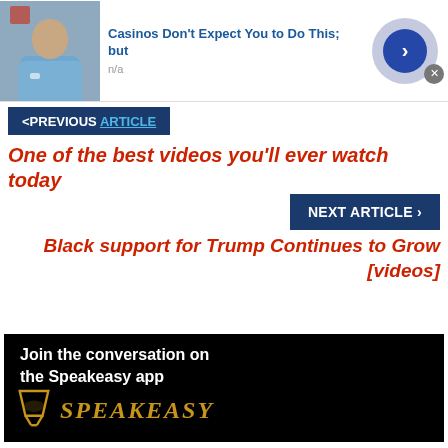[Figure (screenshot): Ad banner with photo of man in blue shirt, text 'Casinos Don't Expect You to Do This; but', subtext 'n/a', and blue arrow button on right]
< PREVIOUS ARTICLE
One of the best videos you'll ever watch today
NEXT ARTICLE >
Black support for Trump Continues to Grow [videos]
[Figure (screenshot): Speakeasy app advertisement banner: black background with white text 'Join the conversation on the Speakeasy app', gold glass icon, gold styled text 'SPEAKEASY']
[Figure (screenshot): Bottom ad banner with photo of man in blue shirt, text 'Casinos Don't Expect You to Do This; but', subtext 'n/a', and blue arrow button on right]